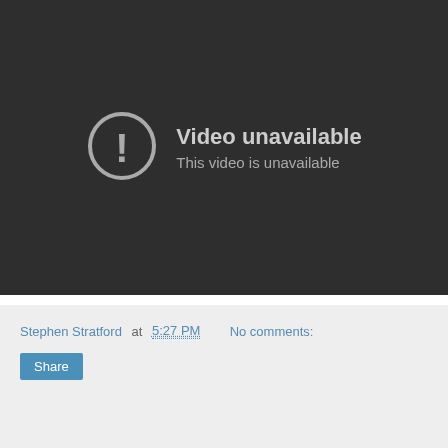[Figure (screenshot): Dark video player showing 'Video unavailable' error message with a circle exclamation icon, text reads 'Video unavailable' and 'This video is unavailable']
Stephen Stratford at 5:27 PM   No comments:
Share